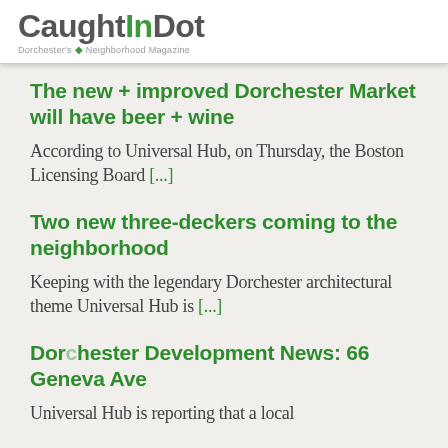CaughtInDot — Dorchester's Neighborhood Magazine
The new + improved Dorchester Market will have beer + wine
According to Universal Hub, on Thursday, the Boston Licensing Board [...]
Two new three-deckers coming to the neighborhood
Keeping with the legendary Dorchester architectural theme Universal Hub is [...]
Dorchester Development News: 66 Geneva Ave
Universal Hub is reporting that a local